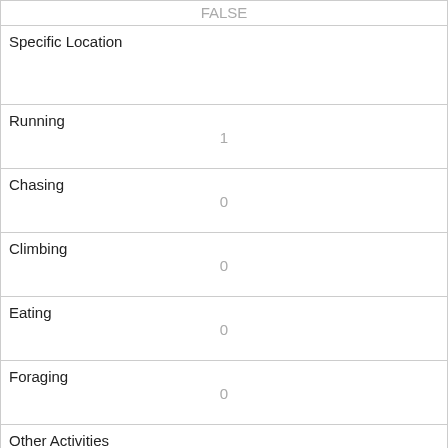| FALSE |
| Specific Location
 |
| Running
1 |
| Chasing
0 |
| Climbing
0 |
| Eating
0 |
| Foraging
0 |
| Other Activities
 |
| Kuks
0 |
| Quaas
0 |
| Moans
0 |